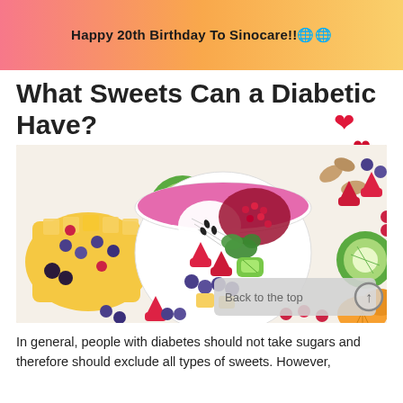Happy 20th Birthday To Sinocare!!🌐🌐
What Sweets Can a Diabetic Have?
[Figure (photo): Overhead photo of a colorful fruit bowl/smoothie bowl filled with strawberries, blueberries, kiwi, pomegranate seeds, coconut flakes, and herbs, surrounded by various tropical and mixed fruits including mango, raspberries, blackberries, almonds, and kiwi slices]
In general, people with diabetes should not take sugars and therefore should exclude all types of sweets. However,